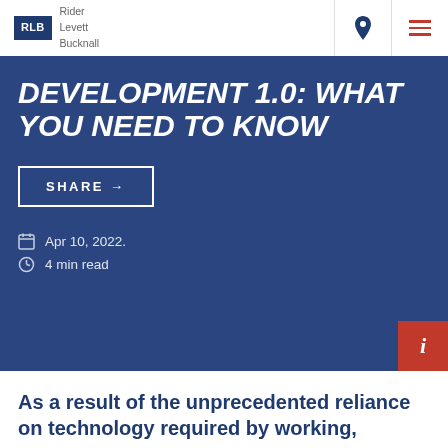[Figure (logo): Rider Levett Bucknall logo with RLB in dark navy box and company name text]
DEVELOPMENT 1.0: WHAT YOU NEED TO KNOW
SHARE →
Apr 10, 2022.
4 min read
As a result of the unprecedented reliance on technology required by working,